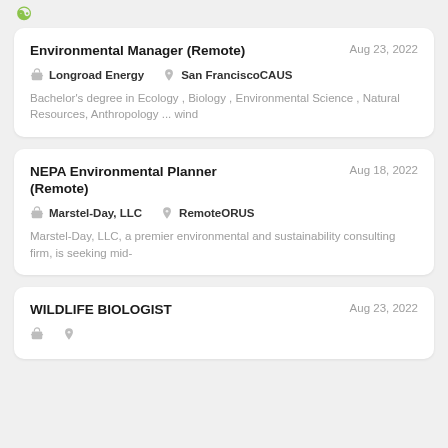Environmental Manager (Remote) | Aug 23, 2022 | Longroad Energy | San FranciscoCAUS | Bachelor's degree in Ecology , Biology , Environmental Science , Natural Resources, Anthropology ...  wind
NEPA Environmental Planner (Remote) | Aug 18, 2022 | Marstel-Day, LLC | RemoteORUS | Marstel-Day, LLC, a premier environmental and sustainability consulting firm, is seeking mid-
WILDLIFE BIOLOGIST | Aug 23, 2022